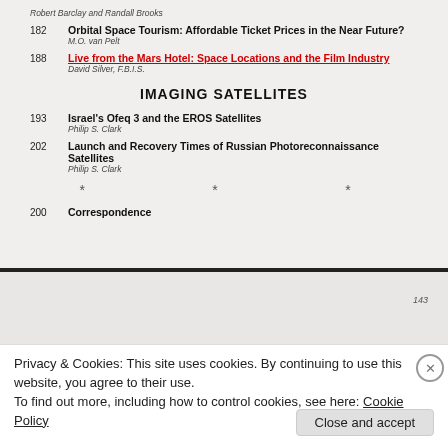Robert Barclay and Randall Brooks
182  Orbital Space Tourism: Affordable Ticket Prices in the Near Future?
M.O. van Pelt
188  Live from the Mars Hotel: Space Locations and the Film Industry
David Silver, F.B.I.S.
IMAGING SATELLITES
193  Israel's Ofeq 3 and the EROS Satellites
Philip S. Clark
202  Launch and Recovery Times of Russian Photoreconnaissance Satellites
Philip S. Clark
*        *        *
200  Correspondence
143